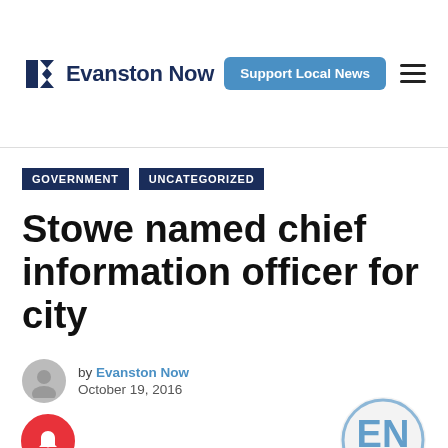Evanston Now — Support Local News
GOVERNMENT   UNCATEGORIZED
Stowe named chief information officer for city
by Evanston Now
October 19, 2016